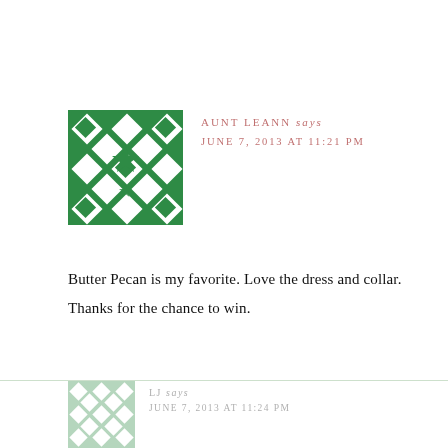[Figure (illustration): Green geometric quilted avatar image with diamond and star patterns on white background]
AUNT LEANN says
JUNE 7, 2013 AT 11:21 PM
Butter Pecan is my favorite. Love the dress and collar. Thanks for the chance to win.
[Figure (illustration): Faded/light green geometric quilted avatar image, partially visible at bottom]
LJ says
JUNE 7, 2013 AT 11:24 PM